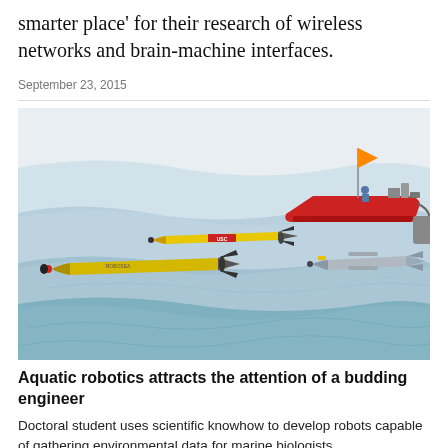smarter place' for their research of wireless networks and brain-machine interfaces.
September 23, 2015
[Figure (illustration): Illustration of aquatic robots operating on and below the water surface: a red unmanned surface vessel with an orange flag on top, two yellow torpedo-shaped autonomous underwater vehicles (AUVs) labeled USC, and a grey torpedo-shaped glider, all shown against a stylized blue ocean with light blue wave bands and topographic contour lines.]
Aquatic robotics attracts the attention of a budding engineer
Doctoral student uses scientific knowhow to develop robots capable of gathering environmental data for marine biologists,